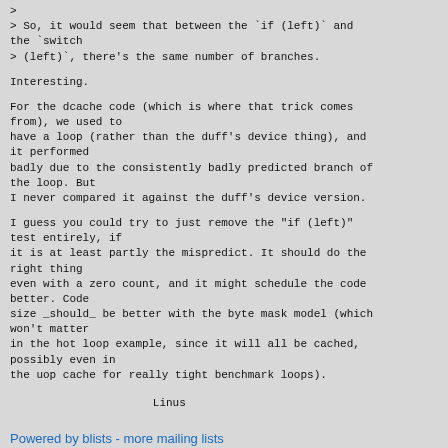>
> So, it would seem that between the `if (left)` and the `switch
> (left)`, there's the same number of branches.
Interesting.
For the dcache code (which is where that trick comes from), we used to
have a loop (rather than the duff's device thing), and it performed
badly due to the consistently badly predicted branch of the loop. But
I never compared it against the duff's device version.
I guess you could try to just remove the "if (left)"
test entirely, if
it is at least partly the mispredict. It should do the right thing
even with a zero count, and it might schedule the code better. Code
size _should_ be better with the byte mask model (which won't matter
in the hot loop example, since it will all be cached, possibly even in
the uop cache for really tight benchmark loops).
Linus
Powered by blists - more mailing lists